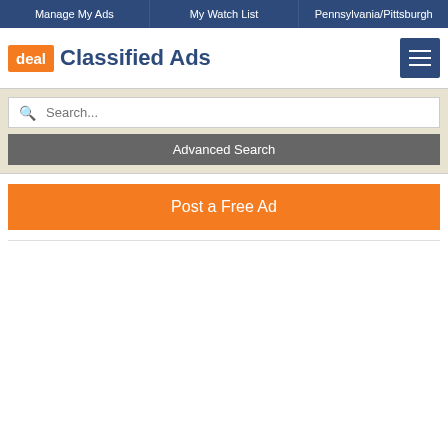Manage My Ads | My Watch List | Pennsylvania/Pittsburgh
deal Classified Ads
Search...
Advanced Search
Post a Free Ad
Pump Organ
$100 — Musical Instrument — 08-19-2018
[Figure (photo): Thumbnail image of item listing for Pump Organ]